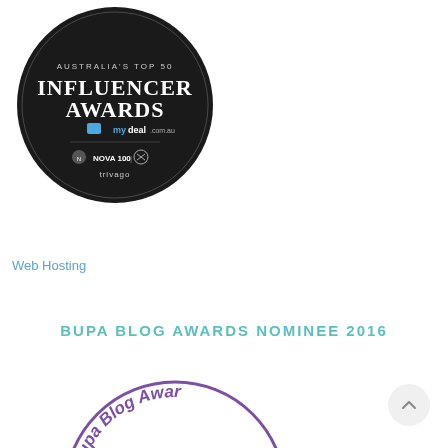[Figure (logo): Australia's Top 50 Influencer Awards badge — dark circular badge with text: AUSTRALIA'S TOP 50 INFLUENCER AWARDS, mydeal.com.au logo, NOVA 100 | trivago logos]
Web Hosting
BUPA BLOG AWARDS NOMINEE 2016
[Figure (logo): Bupa Blog Awards circular stamp/seal badge — partially visible at bottom of page, purple circle with text 'Bupa Blog Awards']